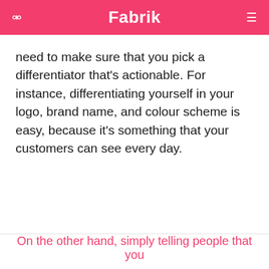Fabrik
need to make sure that you pick a differentiator that's actionable. For instance, differentiating yourself in your logo, brand name, and colour scheme is easy, because it's something that your customers can see every day.
On the other hand, simply telling people that you